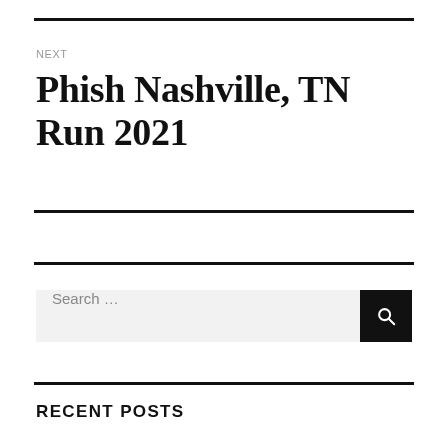NEXT
Phish Nashville, TN Run 2021
Search …
RECENT POSTS